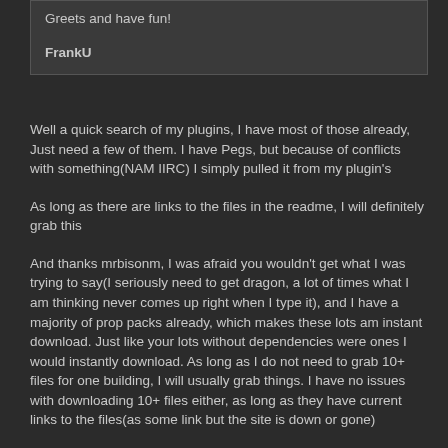Greets and have fun!

FrankU
Well a quick search of my plugins, I have most of those already, Just need a few of them.  I have Pegs, but because of conflicts with something(NAM IIRC) I simply pulled it from my plugin's
As long as there are links to the files in the readme, I will definitely grab this
And thanks mrbisonm, I was afraid you wouldn't get what I was trying to say(I seriously need to get dragon, a lot of times what I am thinking never comes up right when I type it), and I have a majority of prop packs already, which makes these lots am instant download.  Just like your lots without dependencies were ones I would instantly download.  As long as I do not need to grab 10+ files for one building, I will usually grab things.  I have no issues with downloading 10+ files either, as long as they have current links to the files(as some link but the site is down or gone)